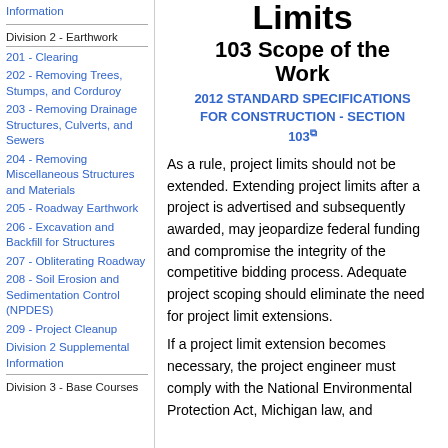Information
Division 2 - Earthwork
201 - Clearing
202 - Removing Trees, Stumps, and Corduroy
203 - Removing Drainage Structures, Culverts, and Sewers
204 - Removing Miscellaneous Structures and Materials
205 - Roadway Earthwork
206 - Excavation and Backfill for Structures
207 - Obliterating Roadway
208 - Soil Erosion and Sedimentation Control (NPDES)
209 - Project Cleanup
Division 2 Supplemental Information
Division 3 - Base Courses
Limits
103 Scope of the Work
2012 STANDARD SPECIFICATIONS FOR CONSTRUCTION - SECTION 103
As a rule, project limits should not be extended. Extending project limits after a project is advertised and subsequently awarded, may jeopardize federal funding and compromise the integrity of the competitive bidding process. Adequate project scoping should eliminate the need for project limit extensions.
If a project limit extension becomes necessary, the project engineer must comply with the National Environmental Protection Act, Michigan law, and